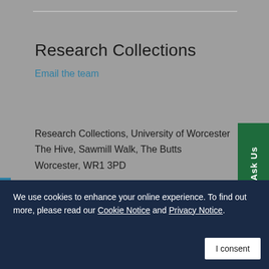Research Collections
Email the team
Research Collections, University of Worcester
The Hive, Sawmill Walk, The Butts
Worcester, WR1 3PD
We use cookies to enhance your online experience. To find out more, please read our Cookie Notice and Privacy Notice.